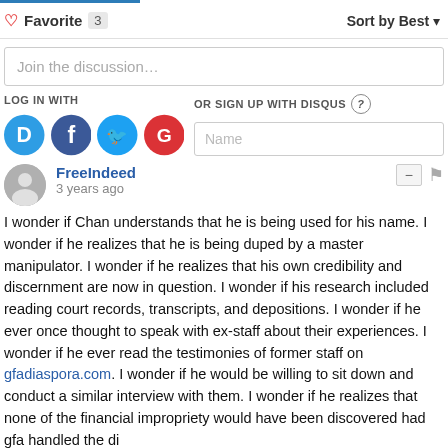Favorite 3    Sort by Best
Join the discussion…
LOG IN WITH
OR SIGN UP WITH DISQUS
Name
FreeIndeed
3 years ago
I wonder if Chan understands that he is being used for his name. I wonder if he realizes that he is being duped by a master manipulator. I wonder if he realizes that his own credibility and discernment are now in question. I wonder if his research included reading court records, transcripts, and depositions. I wonder if he ever once thought to speak with ex-staff about their experiences. I wonder if he ever read the testimonies of former staff on gfadiaspora.com. I wonder if he would be willing to sit down and conduct a similar interview with them. I wonder if he realizes that none of the financial impropriety would have been discovered had gfa handled the di...